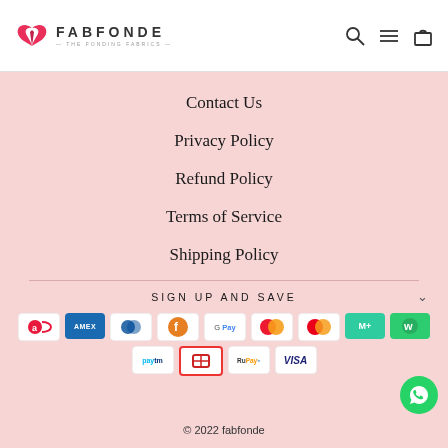[Figure (logo): Fabfonde logo with pink wing icon and text FABFONDE THE FONDING FABRICS]
[Figure (other): Header icons: search, hamburger menu, shopping bag]
Contact Us
Privacy Policy
Refund Policy
Terms of Service
Shipping Policy
SIGN UP AND SAVE
[Figure (other): Payment method icons: Airtel, Amex, Diners Club, Facebook Pay, Google Pay, Maestro/Mastercard x2, MobiKwik, Paytm, Juspay, RuPay, Visa]
© 2022 fabfonde